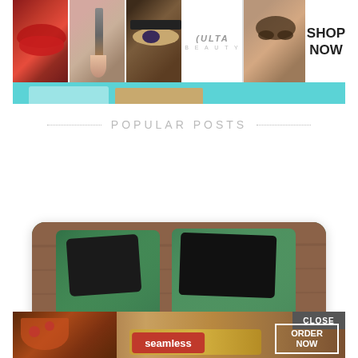[Figure (illustration): Ulta Beauty advertisement banner with makeup photos (lips, brush, eye), Ulta logo, model face, and SHOP NOW button on teal background]
POPULAR POSTS
[Figure (photo): Dinosaur Feet craft project — green foam/sponge craft items shaped like dinosaur feet on a wooden surface, with label overlay reading 'Dinosaur Feet']
[Figure (illustration): Seamless food delivery advertisement with pizza and bread photos, Seamless red logo button, ORDER NOW white-bordered button, and CLOSE button]